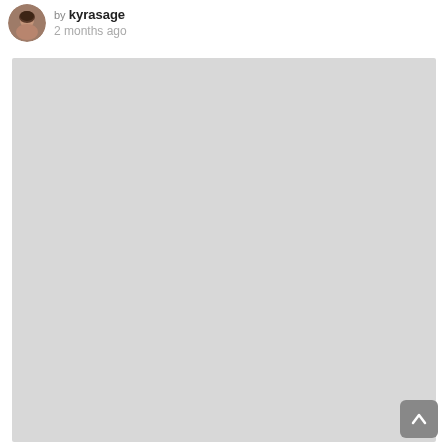[Figure (photo): Circular avatar photo of a young woman with brown hair, shown in a small round profile image]
by kyrasage
2 months ago
[Figure (photo): Large light gray placeholder image area, content not visible]
[Figure (other): Gray rounded square button with upward arrow icon in bottom-right corner]